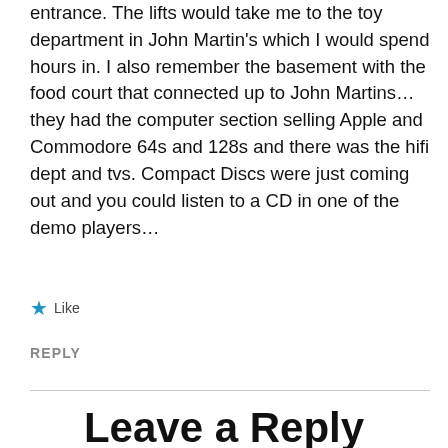entrance. The lifts would take me to the toy department in John Martin's which I would spend hours in. I also remember the basement with the food court that connected up to John Martins… they had the computer section selling Apple and Commodore 64s and 128s and there was the hifi dept and tvs. Compact Discs were just coming out and you could listen to a CD in one of the demo players…
★ Like
REPLY
Leave a Reply